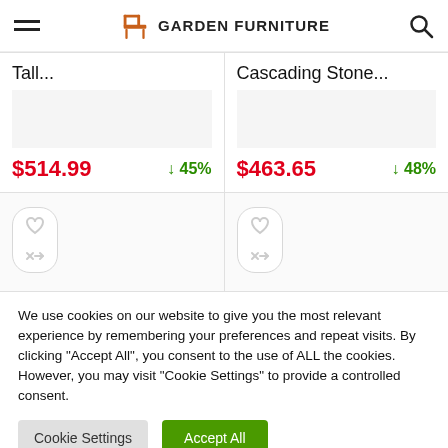GARDEN FURNITURE
Tall...
$514.99  ↓ 45%
Cascading Stone...
$463.65  ↓ 48%
We use cookies on our website to give you the most relevant experience by remembering your preferences and repeat visits. By clicking "Accept All", you consent to the use of ALL the cookies. However, you may visit "Cookie Settings" to provide a controlled consent.
Cookie Settings
Accept All